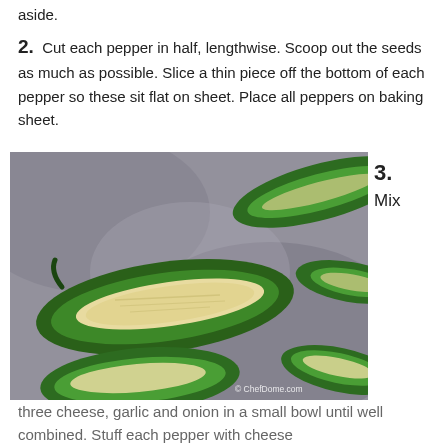aside.
2. Cut each pepper in half, lengthwise. Scoop out the seeds as much as possible. Slice a thin piece off the bottom of each pepper so these sit flat on sheet. Place all peppers on baking sheet.
[Figure (photo): Photo of halved jalapeño peppers stuffed with a white cheese mixture, arranged on a baking sheet. Watermark reads © ChefDome.com]
3. Mix
three cheese, garlic and onion in a small bowl until well combined. Stuff each pepper with cheese mixture and...